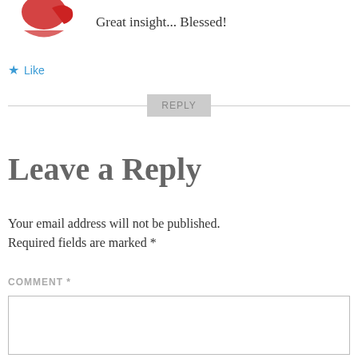[Figure (illustration): Partial red avatar/logo image at top left]
Great insight... Blessed!
★ Like
REPLY
Leave a Reply
Your email address will not be published. Required fields are marked *
COMMENT *